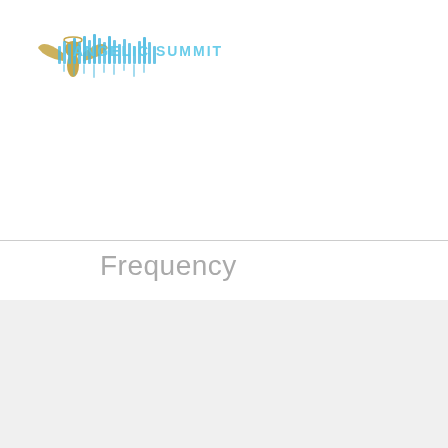[Figure (logo): Angelic Summit logo with golden angel figure and blue crowd silhouette text]
Frequency
Master Spiritual Healer
Soul Integration Facilitator